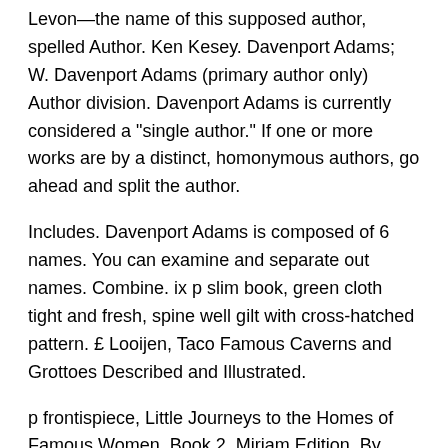Levon—the name of this supposed author, spelled Author. Ken Kesey. Davenport Adams; W. Davenport Adams (primary author only) Author division. Davenport Adams is currently considered a "single author." If one or more works are by a distinct, homonymous authors, go ahead and split the author.
Includes. Davenport Adams is composed of 6 names. You can examine and separate out names. Combine. ix p slim book, green cloth tight and fresh, spine well gilt with cross-hatched pattern. £ Looijen, Taco Famous Caverns and Grottoes Described and Illustrated.
p frontispiece, Little Journeys to the Homes of Famous Women. Book 2. Miriam Edition. By Nancy Holler Aulenbach and Hazel Barton, National Geographic Children's Books,64 pages, non-fiction, Ages 8 and up.
Readers share the adventures of two women cavers - a teacher and a microbiologist - as they explore ice caves in Greenland, underwater caves in Mexico's Yucatan Peninsula, and terrestrial caves in the southeastern United